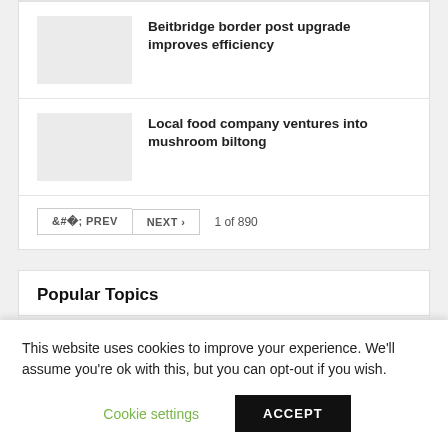Beitbridge border post upgrade improves efficiency
Local food company ventures into mushroom biltong
< PREV   NEXT >   1 of 890
Popular Topics
This website uses cookies to improve your experience. We'll assume you're ok with this, but you can opt-out if you wish.
Cookie settings   ACCEPT